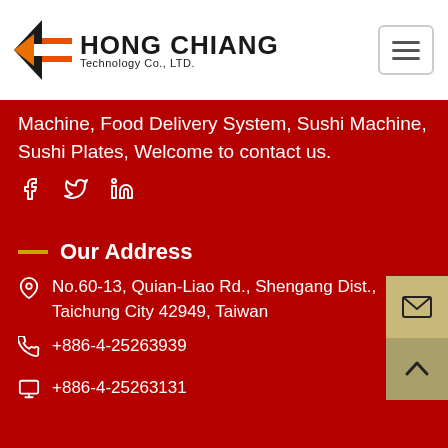Hong Chiang Technology Co., LTD.
Machine, Food Delivery System, Sushi Machine, Sushi Plates, Welcome to contact us.
[Figure (other): Social media icons: Facebook, Twitter, LinkedIn]
Our Address
No.60-13, Quian-Liao Rd., Shengang Dist., Taichung City 42949, Taiwan
+886-4-25263939
+886-4-25263131